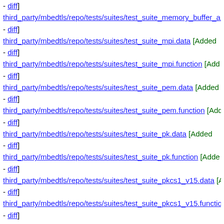- diff]
third_party/mbedtls/repo/tests/suites/test_suite_memory_buffer_al [Added - diff]
third_party/mbedtls/repo/tests/suites/test_suite_mpi.data [Added - diff]
third_party/mbedtls/repo/tests/suites/test_suite_mpi.function [Added - diff]
third_party/mbedtls/repo/tests/suites/test_suite_pem.data [Added - diff]
third_party/mbedtls/repo/tests/suites/test_suite_pem.function [Added - diff]
third_party/mbedtls/repo/tests/suites/test_suite_pk.data [Added - diff]
third_party/mbedtls/repo/tests/suites/test_suite_pk.function [Added - diff]
third_party/mbedtls/repo/tests/suites/test_suite_pkcs1_v15.data [Added - diff]
third_party/mbedtls/repo/tests/suites/test_suite_pkcs1_v15.functio [Added - diff]
third_party/mbedtls/repo/tests/suites/test_suite_pkcs1_v21.data [Added - diff]